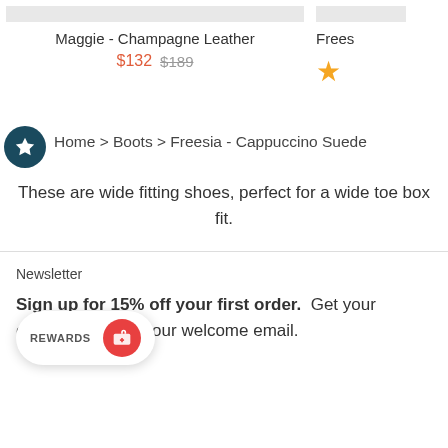Maggie - Champagne Leather
$132  $189
Frees
Home > Boots > Freesia - Cappuccino Suede
These are wide fitting shoes, perfect for a wide toe box fit.
Newsletter
Sign up for 15% off your first order.  Get your discount code in your welcome email.
REWARDS